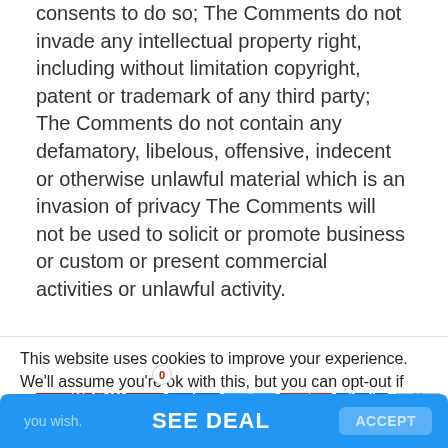consents to do so; The Comments do not invade any intellectual property right, including without limitation copyright, patent or trademark of any third party; The Comments do not contain any defamatory, libelous, offensive, indecent or otherwise unlawful material which is an invasion of privacy The Comments will not be used to solicit or promote business or custom or present commercial activities or unlawful activity.
[Figure (other): Social sharing buttons: Save (heart icon with count 0), Facebook, Twitter, Pinterest, Email, and scroll-to-top arrow button]
This website uses cookies to improve your experience. We'll assume you're ok with this, but you can opt-out if you wish.
SEE DEAL   ACCEPT